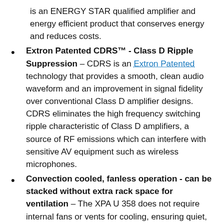is an ENERGY STAR qualified amplifier and energy efficient product that conserves energy and reduces costs.
Extron Patented CDRS™ - Class D Ripple Suppression – CDRS is an Extron Patented technology that provides a smooth, clean audio waveform and an improvement in signal fidelity over conventional Class D amplifier designs. CDRS eliminates the high frequency switching ripple characteristic of Class D amplifiers, a source of RF emissions which can interfere with sensitive AV equipment such as wireless microphones.
Convection cooled, fanless operation - can be stacked without extra rack space for ventilation – The XPA U 358 does not require internal fans or vents for cooling, ensuring quiet, reliable operation. It generates substantially less heat than conventional power amplifiers, making it ideal for rack-mount applications where space is at a premium.